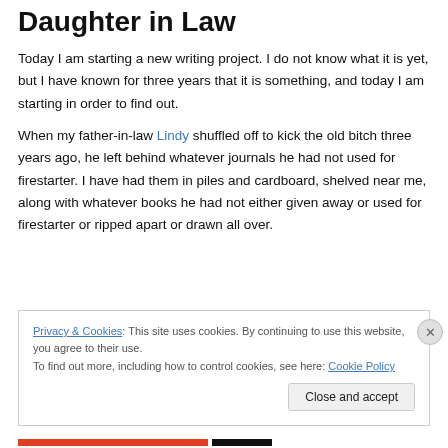Daughter in Law
Today I am starting a new writing project. I do not know what it is yet, but I have known for three years that it is something, and today I am starting in order to find out.
When my father-in-law Lindy shuffled off to kick the old bitch three years ago, he left behind whatever journals he had not used for firestarter. I have had them in piles and cardboard, shelved near me, along with whatever books he had not either given away or used for firestarter or ripped apart or drawn all over.
Privacy & Cookies: This site uses cookies. By continuing to use this website, you agree to their use.
To find out more, including how to control cookies, see here: Cookie Policy
Close and accept